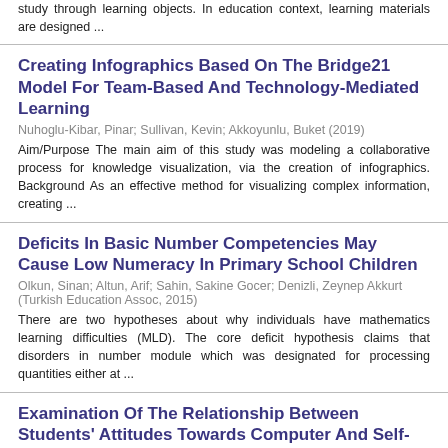study through learning objects. In education context, learning materials are designed ...
Creating Infographics Based On The Bridge21 Model For Team-Based And Technology-Mediated Learning
Nuhoglu-Kibar, Pinar; Sullivan, Kevin; Akkoyunlu, Buket (2019)
Aim/Purpose The main aim of this study was modeling a collaborative process for knowledge visualization, via the creation of infographics. Background As an effective method for visualizing complex information, creating ...
Deficits In Basic Number Competencies May Cause Low Numeracy In Primary School Children
Olkun, Sinan; Altun, Arif; Sahin, Sakine Gocer; Denizli, Zeynep Akkurt (Turkish Education Assoc, 2015)
There are two hypotheses about why individuals have mathematics learning difficulties (MLD). The core deficit hypothesis claims that disorders in number module which was designated for processing quantities either at ...
Examination Of The Relationship Between Students' Attitudes Towards Computer And Self-Directed